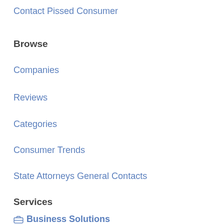Contact Pissed Consumer
Browse
Companies
Reviews
Categories
Consumer Trends
State Attorneys General Contacts
Services
Business Solutions